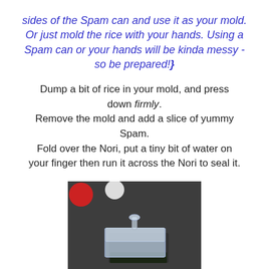sides of the Spam can and use it as your mold. Or just mold the rice with your hands. Using a Spam can or your hands will be kinda messy - so be prepared!}
Dump a bit of rice in your mold, and press down firmly. Remove the mold and add a slice of yummy Spam. Fold over the Nori, put a tiny bit of water on your finger then run it across the Nori to seal it.
[Figure (photo): A clear acrylic rectangular musubi mold/press with a handle on top, sitting on a dark surface with a piece of nori visible underneath. Red and white round objects visible in the background.]